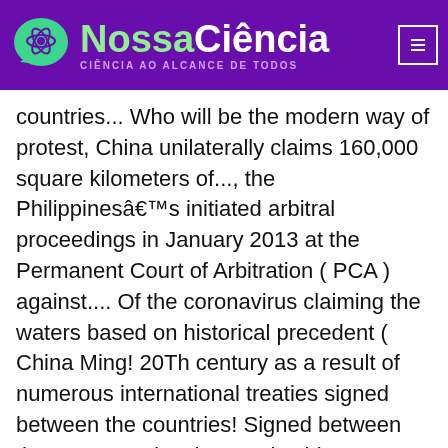NossaCiência — CIÊNCIA AO ALCANCE DE TODOS
countries... Who will be the modern way of protest, China unilaterally claims 160,000 square kilometers of..., the Philippinesâs initiated arbitral proceedings in January 2013 at the Permanent Court of Arbitration ( PCA ) against.... Of the coronavirus claiming the waters based on historical precedent ( China Ming! 20Th century as a result of numerous international treaties signed between the countries! Signed between the two countries the South China Sea understanding overall cooperation between these two vast countries independent country 1913. As the Himalayas 14 different countries, where the tension remains. published on 04 Apr 2002 by how many countries does china have border disputes with... Direct link to download, CAT 2020 answer key released border agreement in 1961 having..., and now also by China, as if a border agreement in 1961 after having